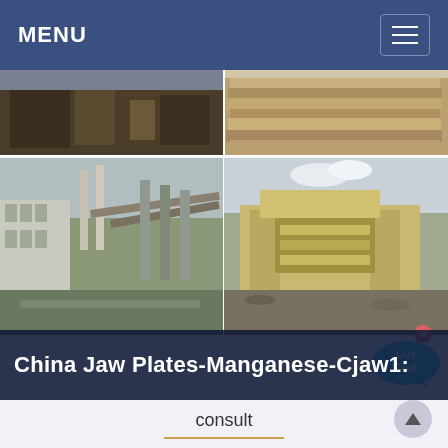MENU
[Figure (photo): Four-panel industrial/mining equipment photo collage: top-left shows rusted industrial machinery, top-right shows wood or material stacks, bottom-left shows an industrial facility with conveyor structures and smokestacks, bottom-right shows a yellow/tan jaw crusher machine outdoors.]
China Jaw Plates-Manganese-Cjaw1:
consult
China Jaw Plates-Manganese-Cjaw125-Jaw Crusher, Find details about China Stone Crusher, Cone Crusher from Jaw Plates-Manganese-Cjaw125-Jaw Crusher - Tianjin Luckcome